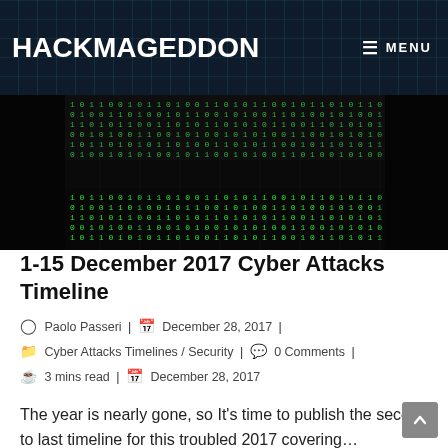HACKMAGEDDON  ≡ MENU
[Figure (photo): Matrix-style green falling code on dark/black background, displayed as a hero image for the blog post]
1-15 December 2017 Cyber Attacks Timeline
Paolo Passeri | December 28, 2017 | Cyber Attacks Timelines / Security | 0 Comments | 3 mins read | December 28, 2017
The year is nearly gone, so It's time to publish the second to last timeline for this troubled 2017 covering…